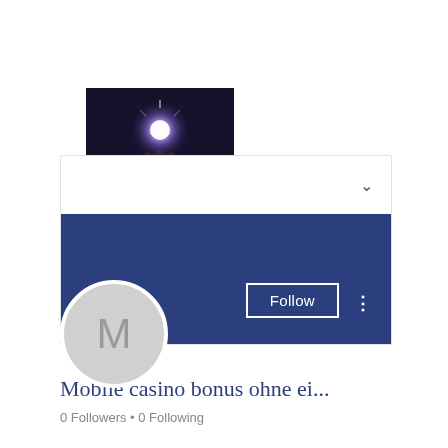[Figure (photo): Small thumbnail image showing a hand holding a glowing light orb against a dark background]
[Figure (screenshot): Social media profile card with white top area containing a chevron, dark blue banner, Follow button, three-dot menu, and avatar circle with letter M]
Mobile casino bonus ohne ei...
0 Followers • 0 Following